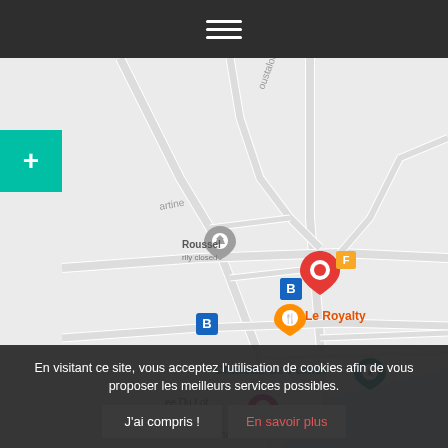Navigation menu (hamburger icon)
[Figure (map): Google Maps screenshot showing the area around Château de Fumel, with markers for Roussel (temporarily closed), Le Royalty restaurant, Château de Fumel, bus stops, Domaine Madeleine, and a red location pin. Street names visible include 'oustalou', 'artine', 'ee Du Lot'. A blue water body (Lot river) is visible at the bottom right.]
En visitant ce site, vous acceptez l'utilisation de cookies afin de vous proposer les meilleurs services possibles.
J'ai compris !
En savoir plus